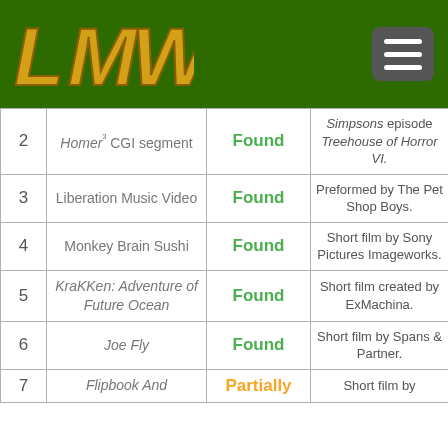[Figure (logo): LMW logo in gold/orange on dark green header bar with hamburger menu button]
| # | Name | Status | Description |
| --- | --- | --- | --- |
| 2 | Homer³ CGI segment | Found | Simpsons episode Treehouse of Horror VI. |
| 3 | Liberation Music Video | Found | Preformed by The Pet Shop Boys. |
| 4 | Monkey Brain Sushi | Found | Short film by Sony Pictures Imageworks. |
| 5 | KraKKen: Adventure of Future Ocean | Found | Short film created by ExMachina. |
| 6 | Joe Fly | Found | Short film by Spans & Partner. |
| 7 | Flipbook And | Partially | Short film by |